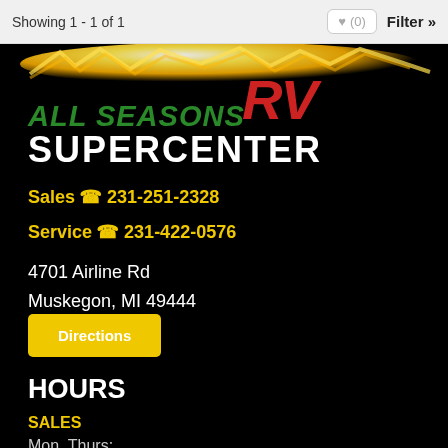Showing 1 - 1 of 1
[Figure (logo): All Seasons RV Supercenter logo with yellow lightning bolt, green ALL SEASONS text, red RV text, and white SUPERCENTER text on black background]
Sales 📞 231-251-2328
Service 📞 231-422-0576
4701 Airline Rd
Muskegon, MI 49444
Directions
HOURS
SALES
Mon, Thurs: